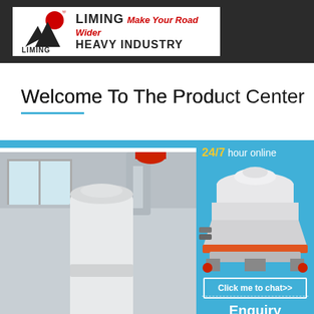[Figure (logo): Liming Heavy Industry logo on dark header bar: red circle with registration mark, black mountain/triangle shapes, text LIMING HEAVY INDUSTRY, tagline Make Your Road Wider]
Welcome To The Product Center
[Figure (photo): Industrial milling/grinding machinery in a white factory interior, showing large white grinding mill with red and black components]
[Figure (photo): Cone crusher machine on blue background in sidebar with 24/7 hour online label]
24/7 hour online
Click me to chat>>
Enquiry
limingjlmofen